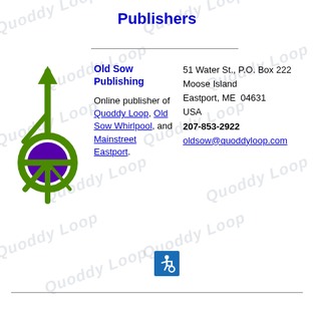Publishers
[Figure (logo): Old Sow Publishing logo: a stylized compass/navigation mark with green arrows and a purple globe circle with yellow dot]
Old Sow Publishing
Online publisher of Quoddy Loop, Old Sow Whirlpool, and Mainstreet Eastport.
51 Water St., P.O. Box 222
Moose Island
Eastport, ME  04631
USA
207-853-2922
oldsow@quoddyloop.com
[Figure (illustration): International Symbol of Access (wheelchair accessibility icon) in white on blue background]